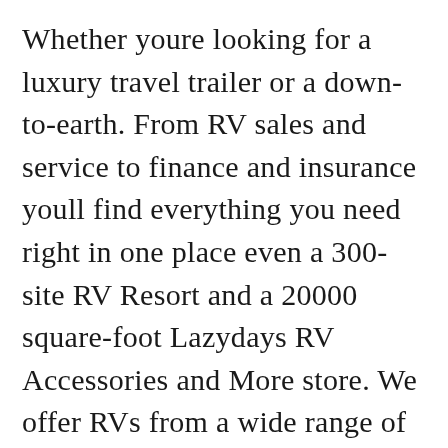Whether youre looking for a luxury travel trailer or a down-to-earth. From RV sales and service to finance and insurance youll find everything you need right in one place even a 300-site RV Resort and a 20000 square-foot Lazydays RV Accessories and More store. We offer RVs from a wide range of top manufacturers such as Cherokee Wolf Pup Grey Wolf Geo Pro Artic Wolf Alpha Wolf Rockwood Open Range Sunseeker Hurricane Miramar Compass and more. As the RV Authority Lazydays RV